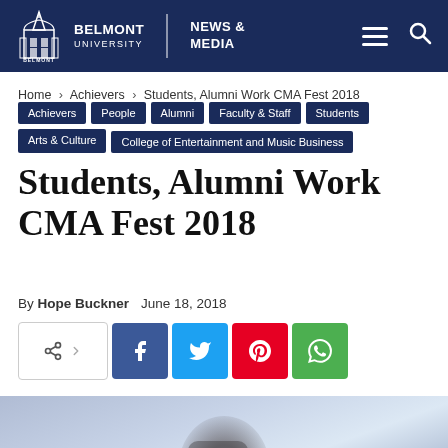Belmont University — News & Media
Home › Achievers › Students, Alumni Work CMA Fest 2018
Achievers
People
Alumni
Faculty & Staff
Students
Arts & Culture
College of Entertainment and Music Business
Students, Alumni Work CMA Fest 2018
By Hope Buckner   June 18, 2018
[Figure (other): Social share buttons: share toggle, Facebook, Twitter, Pinterest, WhatsApp]
[Figure (photo): Partial photo of a person at what appears to be CMA Fest 2018, with blurred background]